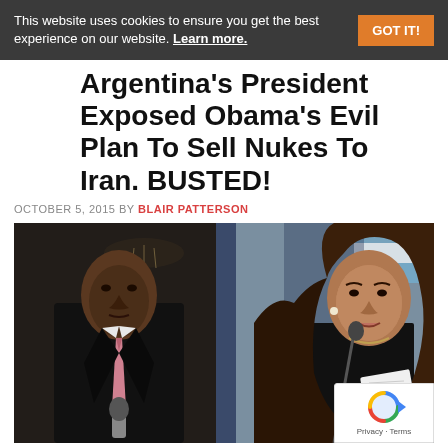This website uses cookies to ensure you get the best experience on our website. Learn more. GOT IT!
Argentina's President Exposed Obama's Evil Plan To Sell Nukes To Iran. BUSTED!
OCTOBER 5, 2015 BY BLAIR PATTERSON
[Figure (photo): Side-by-side composite photo: on the left, Barack Obama in a dark suit with pink tie speaking at a podium; on the right, a woman with long dark hair (Argentina's President) in a dark jacket speaking at a microphone, with an Argentine flag visible in the background.]
Now I've seen everything. Though highly